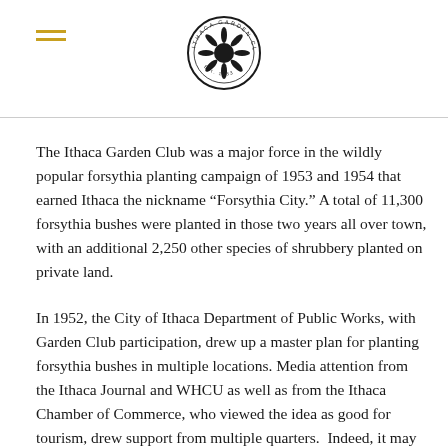Ithaca Garden Club logo and navigation
The Ithaca Garden Club was a major force in the wildly popular forsythia planting campaign of 1953 and 1954 that earned Ithaca the nickname “Forsythia City.” A total of 11,300 forsythia bushes were planted in those two years all over town, with an additional 2,250 other species of shrubbery planted on private land.
In 1952, the City of Ithaca Department of Public Works, with Garden Club participation, drew up a master plan for planting forsythia bushes in multiple locations. Media attention from the Ithaca Journal and WHCU as well as from the Ithaca Chamber of Commerce, who viewed the idea as good for tourism, drew support from multiple quarters.  Indeed, it may be said that the forsythia campaign quickly became an expression of civic boosterism, symptomatic of postwar economic recovery and expansion. Local government, business and civic organizations